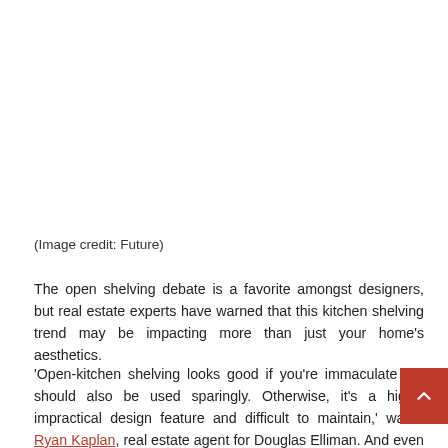[Figure (photo): Image placeholder area at top of page (white/blank area for a photo)]
(Image credit: Future)
The open shelving debate is a favorite amongst designers, but real estate experts have warned that this kitchen shelving trend may be impacting more than just your home's aesthetics.
'Open-kitchen shelving looks good if you're immaculate but should also be used sparingly. Otherwise, it's a highly impractical design feature and difficult to maintain,' warns Ryan Kaplan, real estate agent for Douglas Elliman. And even if you're not looking to sell, it may be better to experiment with this fashionable storage idea in rooms beyond the kitchen.